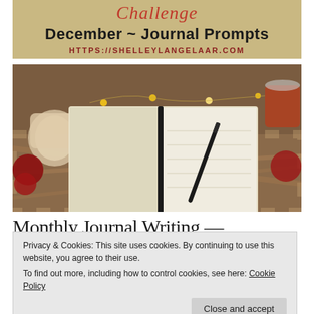Challenge
December ~ Journal Prompts
HTTPS://SHELLEYLANGELAAR.COM
[Figure (photo): Open journal/notebook with a pen resting on it, fairy lights, candles and warm cozy setting on a plaid blanket]
Monthly Journal Writing —
Privacy & Cookies: This site uses cookies. By continuing to use this website, you agree to their use.
To find out more, including how to control cookies, see here: Cookie Policy
Close and accept
Hello friend Have you ever heard of a journal challenge?